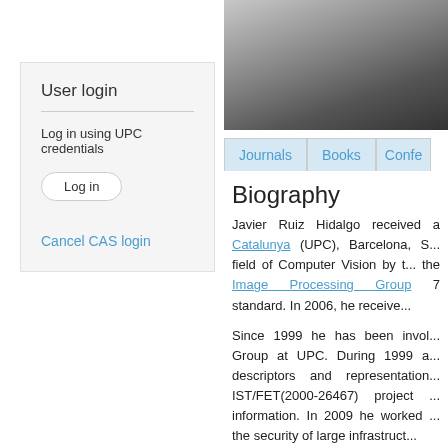[Figure (photo): Partial photo of a smiling person in dark clothing, cropped at top, right side of page]
User login
Log in using UPC credentials
Log in
Cancel CAS login
Journals  Books  Confe...
Biography
Javier Ruiz Hidalgo received a ... Catalunya (UPC), Barcelona, S... field of Computer Vision by t... the Image Processing Group ... 7 standard. In 2006, he receive...
Since 1999 he has been invol... Group at UPC. During 1999 a... descriptors and representation... IST/FET(2000-26467) project ... information. In 2009 he worked ... the security of large infrastruct... researcher for the EU proje...